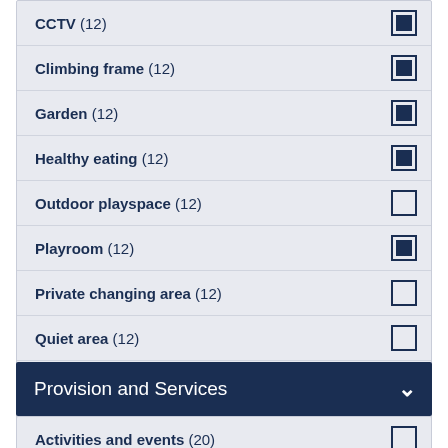CCTV (12)
Climbing frame (12)
Garden (12)
Healthy eating (12)
Outdoor playspace (12)
Playroom (12)
Private changing area (12)
Quiet area (12)
Refreshments (12)
Sleeping area (12)
Wheelchair access (12)
Provision and Services
Activities and events (20)
Admssessment/setting involved (14)